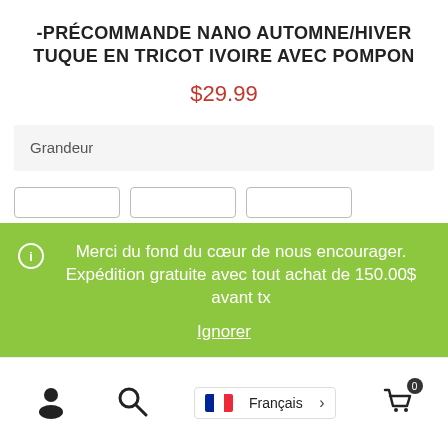-PRÉCOMMANDE NANO AUTOMNE/HIVER TUQUE EN TRICOT IVOIRE AVEC POMPON
$29.99
Grandeur
ℹ Merci du fond du cœur de nous encourager. Expédition gratuite avec tout achat de 150.00$ avant tx
Ignorer